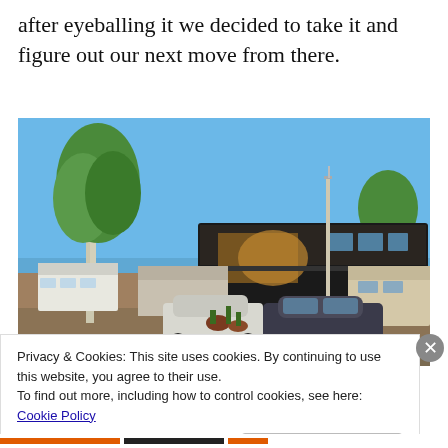after eyeballing it we decided to take it and figure out our next move from there.
[Figure (photo): Outdoor RV park scene with several large RVs and fifth-wheels parked in rows, trees in background, cars parked nearby, clear blue sky.]
Privacy & Cookies: This site uses cookies. By continuing to use this website, you agree to their use.
To find out more, including how to control cookies, see here: Cookie Policy